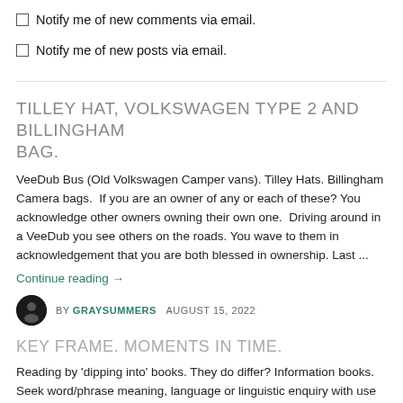Notify me of new comments via email.
Notify me of new posts via email.
TILLEY HAT, VOLKSWAGEN TYPE 2 AND BILLINGHAM BAG.
VeeDub Bus (Old Volkswagen Camper vans). Tilley Hats. Billingham Camera bags.  If you are an owner of any or each of these? You acknowledge other owners owning their own one.  Driving around in a VeeDub you see others on the roads. You wave to them in acknowledgement that you are both blessed in ownership. Last ...
Continue reading →
BY GRAYSUMMERS   AUGUST 15, 2022
KEY FRAME. MOMENTS IN TIME.
Reading by 'dipping into' books. They do differ? Information books. Seek word/phrase meaning, language or linguistic enquiry with use of a dictionary, Thesaurus, reverse dictionary, idioms, etc. Hobby